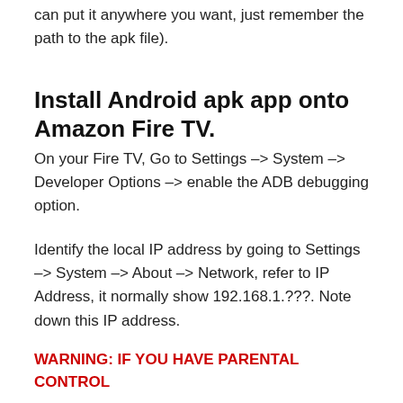can put it anywhere you want, just remember the path to the apk file).
Install Android apk app onto Amazon Fire TV.
On your Fire TV, Go to Settings –> System –> Developer Options –> enable the ADB debugging option.
Identify the local IP address by going to Settings –> System –> About –> Network, refer to IP Address, it normally show 192.168.1.???. Note down this IP address.
WARNING: IF YOU HAVE PARENTAL CONTROL